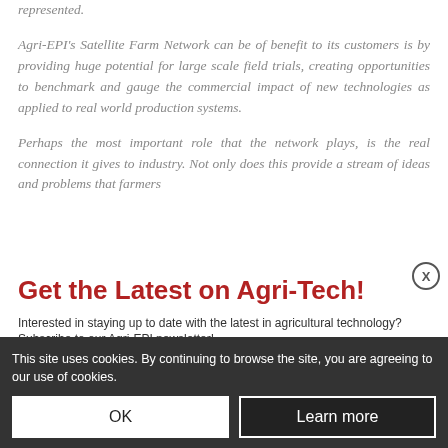represented.
Agri-EPI's Satellite Farm Network can be of benefit to its customers is by providing huge potential for large scale field trials, creating opportunities to benchmark and gauge the commercial impact of new technologies as applied to real world production systems.
Perhaps the most important role that the network plays, is the real connection it gives to industry. Not only does this provide a stream of ideas and problems that farmers
Get the Latest on Agri-Tech!
Interested in staying up to date with the latest in agricultural technology? Subscribe to our Agri EPI newsletter!
Email Address *
E.g. john@example.com
Subscribe
This site uses cookies. By continuing to browse the site, you are agreeing to our use of cookies.
OK
Learn more